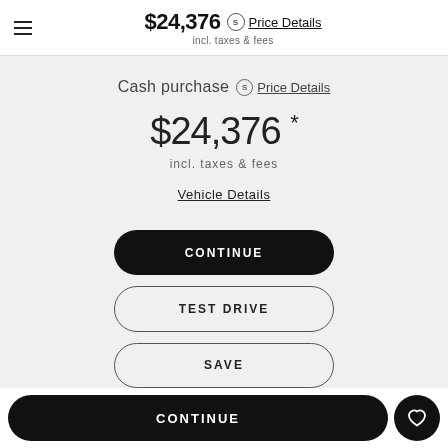$24,376 incl. taxes & fees Price Details
Cash purchase  Price Details
$24,376 *
incl. taxes & fees
Vehicle Details
CONTINUE
TEST DRIVE
SAVE
CONTINUE